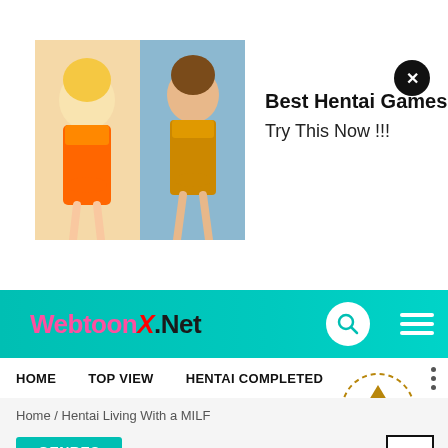[Figure (screenshot): Advertisement banner with anime-style images of female characters and text 'Best Hentai Games - Try This Now !!!']
Best Hentai Games
Try This Now !!!
[Figure (screenshot): WebtoonX.Net website navigation bar with teal/cyan background, logo in pink and black, search icon, and hamburger menu]
HOME    TOP VIEW    HENTAI COMPLETED
Home / Hentai Living With a MILF
GENRES